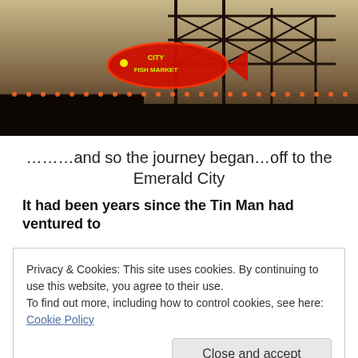[Figure (photo): Night photo of a neon fish sign reading 'CITY FISH MARKET' on a metal tower structure, with string lights along a roofline, dark sky background.]
………and so the journey began…off to the Emerald City
It had been years since the Tin Man had ventured to
Privacy & Cookies: This site uses cookies. By continuing to use this website, you agree to their use.
To find out more, including how to control cookies, see here: Cookie Policy
Close and accept
[Figure (photo): Partial bottom image showing colorful illuminated signs or arcade machines.]